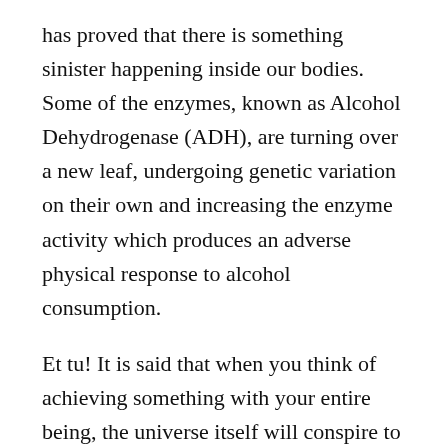has proved that there is something sinister happening inside our bodies. Some of the enzymes, known as Alcohol Dehydrogenase (ADH), are turning over a new leaf, undergoing genetic variation on their own and increasing the enzyme activity which produces an adverse physical response to alcohol consumption.
Et tu! It is said that when you think of achieving something with your entire being, the universe itself will conspire to help you achieve it.
But here, a huge population of the human race, mostly the female variety, wanted to achieve prohibition on a gigantic scale, and see how the universe has conspired to help achieve the exalted goal!